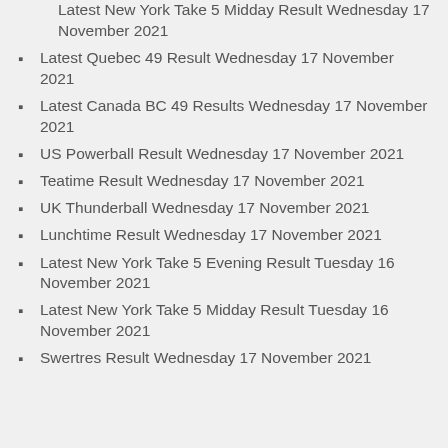Latest New York Take 5 Midday Result Wednesday 17 November 2021
Latest Quebec 49 Result Wednesday 17 November 2021
Latest Canada BC 49 Results Wednesday 17 November 2021
US Powerball Result Wednesday 17 November 2021
Teatime Result Wednesday 17 November 2021
UK Thunderball Wednesday 17 November 2021
Lunchtime Result Wednesday 17 November 2021
Latest New York Take 5 Evening Result Tuesday 16 November 2021
Latest New York Take 5 Midday Result Tuesday 16 November 2021
Swertres Result Wednesday 17 November 2021